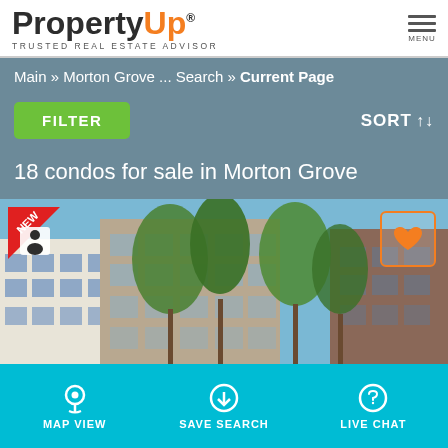[Figure (logo): PropertyUp logo with tagline TRUSTED REAL ESTATE ADVISOR]
Main » Morton Grove ... Search » Current Page
FILTER
SORT ↑↓
18 condos for sale in Morton Grove
[Figure (photo): Exterior photo of condo buildings with trees in Morton Grove]
MAP VIEW   SAVE SEARCH   LIVE CHAT